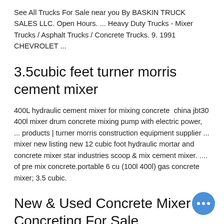See All Trucks For Sale near you By BASKIN TRUCK SALES LLC. Open Hours. ... Heavy Duty Trucks - Mixer Trucks / Asphalt Trucks / Concrete Trucks. 9. 1991 CHEVROLET ...
3.5cubic feet turner morris cement mixer
400L hydraulic cement mixer for mixing concrete  china jbt30 400l mixer drum concrete mixing pump with electric power, ... products | turner morris construction equipment supplier ... mixer new listing new 12 cubic foot hydraulic mortar and concrete mixer star industries scoop & mix cement mixer. .... of pre mix concrete.portable 6 cu (100l 400l) gas concrete mixer; 3.5 cubic.
New & Used Concrete Mixer Concreting For Sale
Just load, mix, unload, do it all with your machine. With this 270 L model you can mix 1m3 of concrete in - 20 minutes. Other models and sizes available to suit different loaders/ excavators. This is a top quality bucket made from high wear